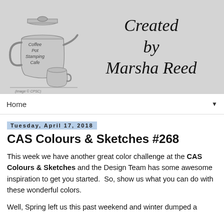[Figure (illustration): Blog header banner with gray background. Left side shows a pencil sketch illustration of a coffee percolator pot labeled 'Coffee Pot Stamping Cafe' with a small creamer/cup beside it. Right side shows cursive/italic text 'Created by Marsha Reed' in large black font.]
Home
Tuesday, April 17, 2018
CAS Colours & Sketches #268
This week we have another great color challenge at the CAS Colours & Sketches and the Design Team has some awesome inspiration to get you started.  So, show us what you can do with these wonderful colors.
Well, Spring left us this past weekend and winter dumped a